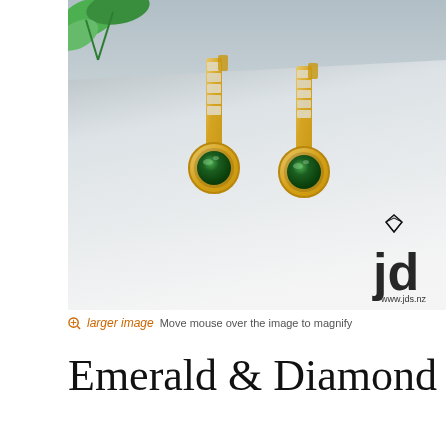[Figure (photo): Product photo of two gold earrings with emerald green round stones at the bottom and channel-set diamond baguettes along the straight bar post. Displayed on a white surface with a green plant leaf in the top-left corner. JD (jds.nz) logo watermark in the bottom-right of the image.]
larger image  Move mouse over the image to magnify
Emerald & Diamond